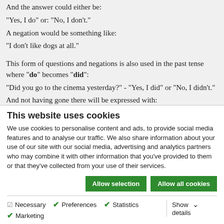And the answer could either be:
"Yes, I do" or: "No, I don't."
A negation would be something like:
"I don't like dogs at all."
This form of questions and negations is also used in the past tense where "do" becomes "did":
"Did you go to the cinema yesterday?" - "Yes, I did" or "No, I didn't."
And not having gone there will be expressed with:
"I didn't go to the cinema."
This website uses cookies
We use cookies to personalise content and ads, to provide social media features and to analyse our traffic. We also share information about your use of our site with our social media, advertising and analytics partners who may combine it with other information that you've provided to them or that they've collected from your use of their services.
Allow selection | Allow all cookies
Necessary  Preferences  Statistics  Marketing  Show details